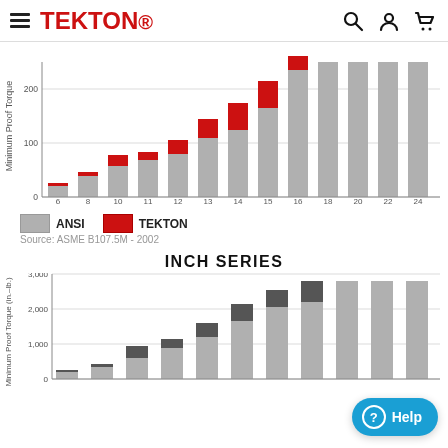TEKTON
[Figure (stacked-bar-chart): 3/8 Inch Drive Sockets (mm)]
ANSI   TEKTON
Source: ASME B107.5M - 2002
INCH SERIES
[Figure (stacked-bar-chart): Inch Series]